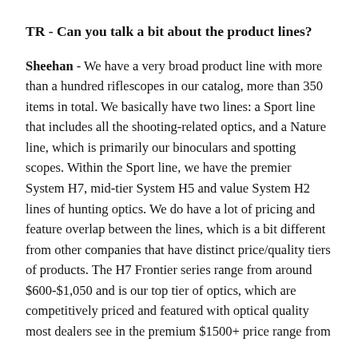TR - Can you talk a bit about the product lines?
Sheehan - We have a very broad product line with more than a hundred riflescopes in our catalog, more than 350 items in total. We basically have two lines: a Sport line that includes all the shooting-related optics, and a Nature line, which is primarily our binoculars and spotting scopes. Within the Sport line, we have the premier System H7, mid-tier System H5 and value System H2 lines of hunting optics. We do have a lot of pricing and feature overlap between the lines, which is a bit different from other companies that have distinct price/quality tiers of products. The H7 Frontier series range from around $600-$1,050 and is our top tier of optics, which are competitively priced and featured with optical quality most dealers see in the premium $1500+ price range from competitors. The H5 Side windows and H5 Fen...